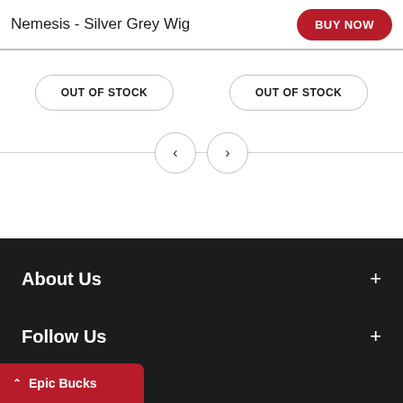Nemesis - Silver Grey Wig
BUY NOW
OUT OF STOCK
OUT OF STOCK
About Us
Follow Us
Policies
Customer Care
Epic Bucks